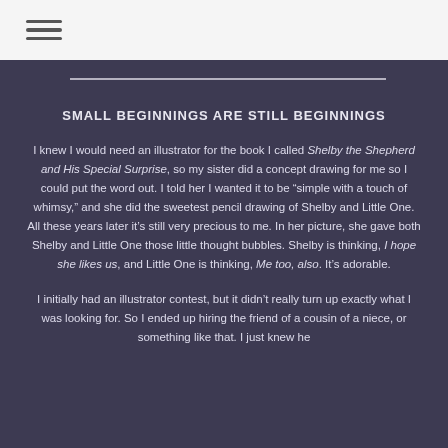[hamburger menu icon]
SMALL BEGINNINGS ARE STILL BEGINNINGS
I knew I would need an illustrator for the book I called Shelby the Shepherd and His Special Surprise, so my sister did a concept drawing for me so I could put the word out. I told her I wanted it to be “simple with a touch of whimsy,” and she did the sweetest pencil drawing of Shelby and Little One. All these years later it’s still very precious to me. In her picture, she gave both Shelby and Little One those little thought bubbles. Shelby is thinking, I hope she likes us, and Little One is thinking, Me too, also. It’s adorable.
I initially had an illustrator contest, but it didn’t really turn up exactly what I was looking for. So I ended up hiring the friend of a cousin of a niece, or something like that. I just knew he